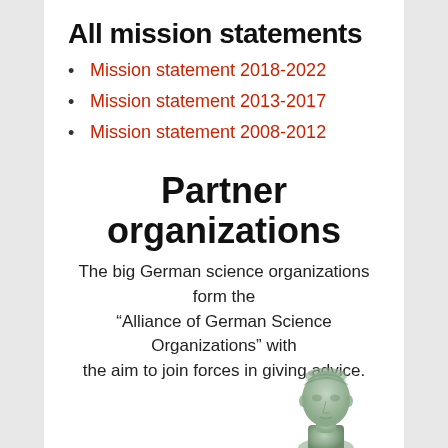All mission statements
Mission statement 2018-2022
Mission statement 2013-2017
Mission statement 2008-2012
Partner organizations
The big German science organizations form the “Alliance of German Science Organizations” with the aim to join forces in giving advice.
[Figure (illustration): Partial view of a classical bust sculpture (head and partial torso) with greenish-grey patina, cropped at bottom of page.]